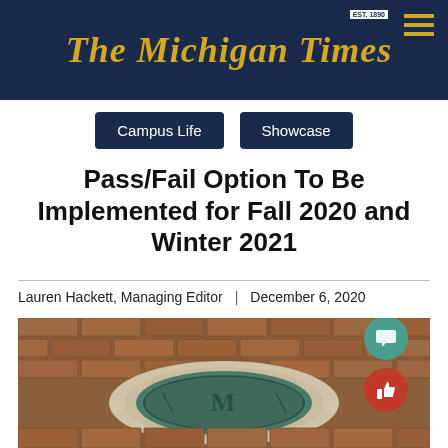The Michigan Times
Campus Life
Showcase
Pass/Fail Option To Be Implemented for Fall 2020 and Winter 2021
Lauren Hackett, Managing Editor | December 6, 2020
[Figure (photo): Close-up photo of a University of Michigan bronze M emblem embedded in brick pavement, showing the circular seal with the letter M and decorative elements surrounded by brick paving stones.]